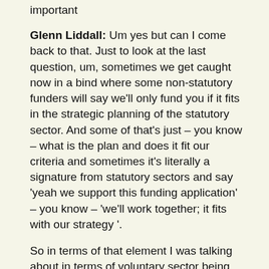important
Glenn Liddall: Um yes but can I come back to that. Just to look at the last question, um, sometimes we get caught now in a bind where some non-statutory funders will say we'll only fund you if it fits in the strategic planning of the statutory sector. And some of that's just – you know – what is the plan and does it fit our criteria and sometimes it's literally a signature from statutory sectors and say 'yeah we support this funding application' – you know – 'we'll work together; it fits with our strategy '.
So in terms of that element I was talking about in terms of voluntary sector being voluntary…but it does… those two sides do hit each other because then they're starting…even